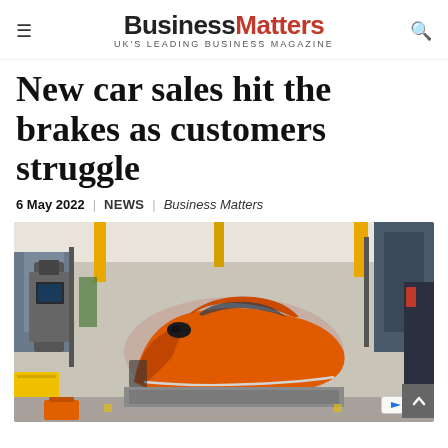Business Matters — UK'S LEADING BUSINESS MAGAZINE
New car sales hit the brakes as customers struggle
6 May 2022   NEWS   Business Matters
[Figure (photo): Orange MINI car body on an assembly line in a factory, surrounded by industrial equipment, robotic arms, and yellow bins.]